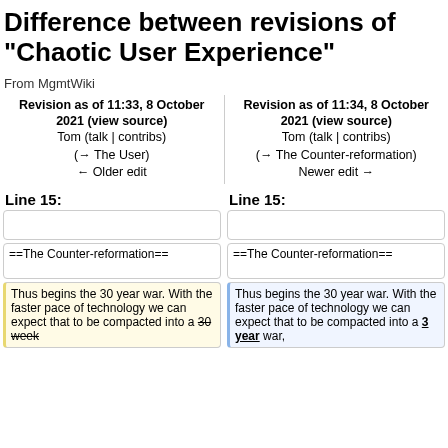Difference between revisions of "Chaotic User Experience"
From MgmtWiki
| Revision as of 11:33, 8 October 2021 (view source) | Revision as of 11:34, 8 October 2021 (view source) |
| --- | --- |
| Tom (talk | contribs) | Tom (talk | contribs) |
| (→ The User) | (→ The Counter-reformation) |
| ← Older edit | Newer edit → |
Line 15:
Line 15:
==The Counter-reformation==
==The Counter-reformation==
Thus begins the 30 year war. With the faster pace of technology we can expect that to be compacted into a 30 week [strikethrough]
Thus begins the 30 year war. With the faster pace of technology we can expect that to be compacted into a 3 year war,